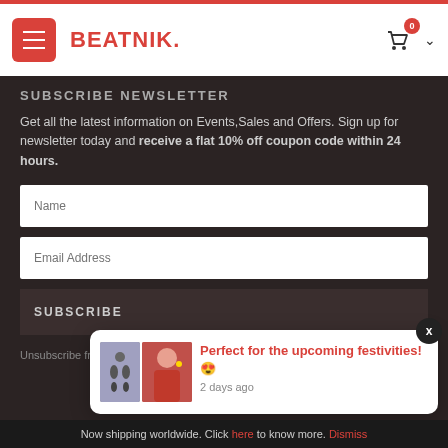[Figure (screenshot): Website header with hamburger menu button, BEATNIK logo in red, and shopping cart icon with badge showing 0]
SUBSCRIBE NEWSLETTER
Get all the latest information on Events,Sales and Offers. Sign up for newsletter today and receive a flat 10% off coupon code within 24 hours.
[Figure (other): Name input field (white text field with placeholder 'Name')]
[Figure (other): Email Address input field (white text field with placeholder 'Email Address')]
[Figure (other): SUBSCRIBE button (dark background with uppercase text)]
Unsubscribe from
[Figure (other): Notification popup showing earring product images and text 'Perfect for the upcoming festivities! 😍' with timestamp '2 days ago']
Now shipping worldwide. Click here to know more. Dismiss